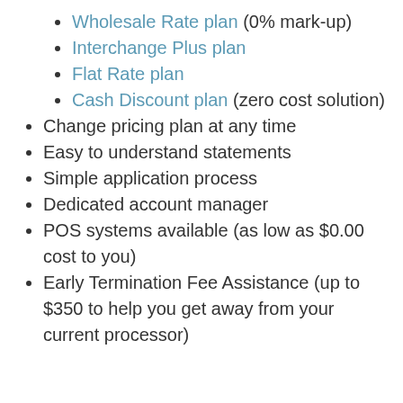Wholesale Rate plan (0% mark-up)
Interchange Plus plan
Flat Rate plan
Cash Discount plan (zero cost solution)
Change pricing plan at any time
Easy to understand statements
Simple application process
Dedicated account manager
POS systems available (as low as $0.00 cost to you)
Early Termination Fee Assistance (up to $350 to help you get away from your current processor)